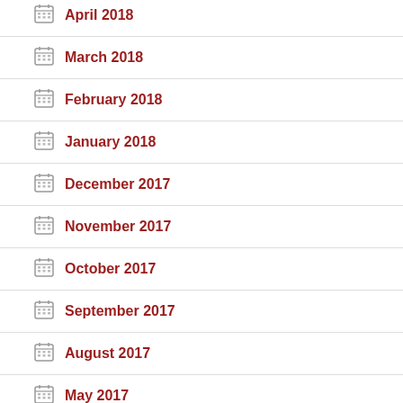April 2018
March 2018
February 2018
January 2018
December 2017
November 2017
October 2017
September 2017
August 2017
May 2017
April 2017